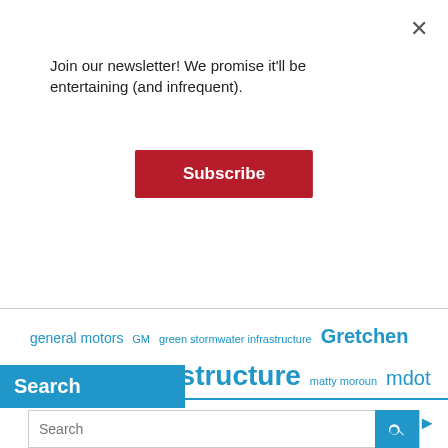×
Join our newsletter! We promise it'll be entertaining (and infrequent).
Subscribe
general motors  GM  green stormwater infrastructure  Gretchen Whitmer  infrastructure  matty moroun  mdot  michigan  mike duggan  mobility  ontario  policy  power grid  public health  public transit  RTA  southwest detroit  stock market  Tesla  transit  transportation  trump  utilities  windsor
Search
Search